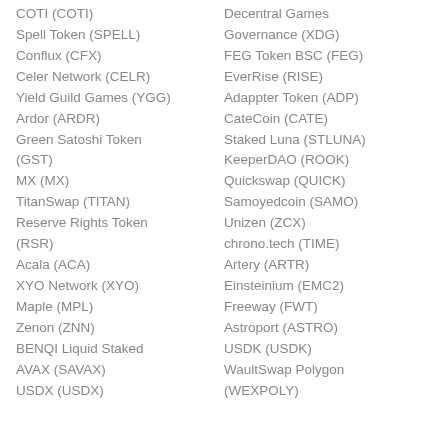COTI (COTI)
Spell Token (SPELL)
Conflux (CFX)
Celer Network (CELR)
Yield Guild Games (YGG)
Ardor (ARDR)
Green Satoshi Token (GST)
MX (MX)
TitanSwap (TITAN)
Reserve Rights Token (RSR)
Acala (ACA)
XYO Network (XYO)
Maple (MPL)
Zenon (ZNN)
BENQI Liquid Staked AVAX (SAVAX)
USDX (USDX)
Decentral Games
Governance (XDG)
FEG Token BSC (FEG)
EverRise (RISE)
Adappter Token (ADP)
CateCoin (CATE)
Staked Luna (STLUNA)
KeeperDAO (ROOK)
Quickswap (QUICK)
Samoyedcoin (SAMO)
Unizen (ZCX)
chrono.tech (TIME)
Artery (ARTR)
Einsteinium (EMC2)
Freeway (FWT)
Astroport (ASTRO)
USDK (USDK)
WaultSwap Polygon (WEXPOLY)